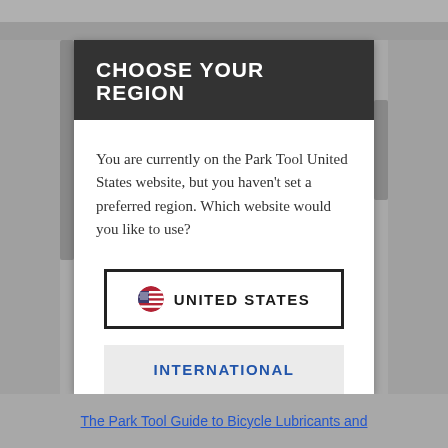CHOOSE YOUR REGION
You are currently on the Park Tool United States website, but you haven't set a preferred region. Which website would you like to use?
[Figure (screenshot): Button with US flag icon and text UNITED STATES, with thick black border]
[Figure (screenshot): Button with text INTERNATIONAL in blue on light gray background]
The Park Tool Guide to Bicycle Lubricants and